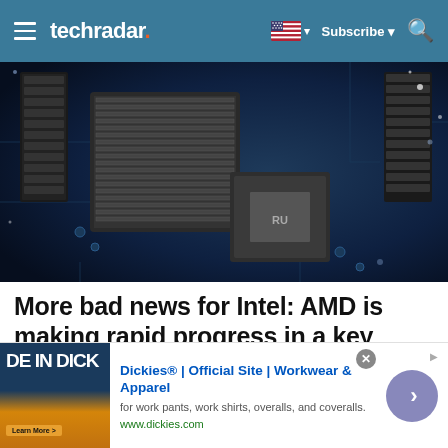techradar.
[Figure (photo): Close-up photo of a computer motherboard with CPU heatsinks and RAM modules, shot in dark blue tones]
More bad news for Intel: AMD is making rapid progress in a key market
[Figure (other): Advertisement banner: Dickies® | Official Site | Workwear & Apparel - for work pants, work shirts, overalls, and coveralls. www.dickies.com]